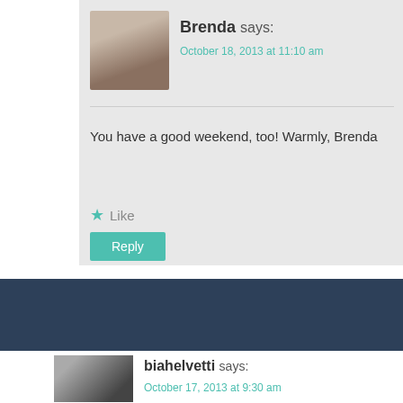[Figure (photo): Avatar photo of Brenda, a woman with reddish-brown hair]
Brenda says:
October 18, 2013 at 11:10 am
You have a good weekend, too! Warmly, Brenda
★ Like
Reply
[Figure (photo): Avatar photo of biahelvetti, appears to show a decorative or jewelry item]
biahelvetti says:
October 17, 2013 at 9:30 am